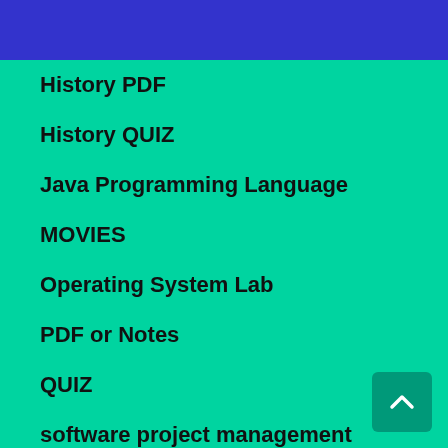Hindi GK
History Class
☰ Menu
History PDF
History QUIZ
Java Programming Language
MOVIES
Operating System Lab
PDF or Notes
QUIZ
software project management
Suspended Particulate Matter
Uncategorized
Web Designing Lab